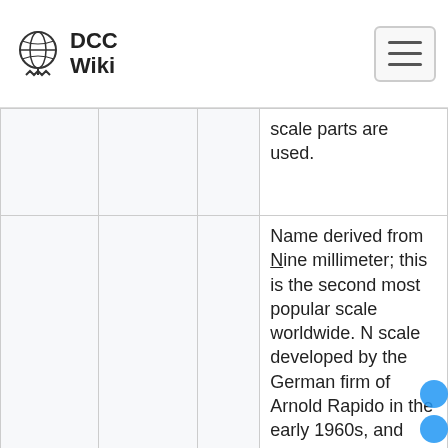DCC Wiki
|  |  |  |  |
| --- | --- | --- | --- |
|  |  |  | scale parts are used. |
|  |  |  | Name derived from Nine millimeter; this is the second most popular scale worldwide. N scale developed by the German firm of Arnold Rapido in the early 1960s, and was rapidly adopted worldwide as the most popular small-scale modelling choice. In recent years, finer profile wheels and track have been developed by some manufacturers |